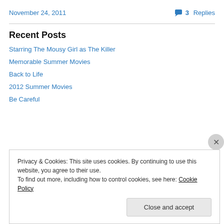November 24, 2011   3 Replies
Recent Posts
Starring The Mousy Girl as The Killer
Memorable Summer Movies
Back to Life
2012 Summer Movies
Be Careful
Privacy & Cookies: This site uses cookies. By continuing to use this website, you agree to their use.
To find out more, including how to control cookies, see here: Cookie Policy
Close and accept